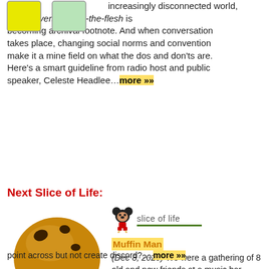increasingly disconnected world, real conversation-in-the-flesh is becoming archival footnote. And when conversation takes place, changing social norms and convention make it a mine field on what the dos and don'ts are. Here's a smart guideline from radio host and public speaker, Celeste Headlee…more »»
Next Slice of Life:
[Figure (illustration): Cartoon muffin with a happy face]
[Figure (illustration): Mickey Mouse walking figure next to 'slice of life' handwritten text with a dark green underline]
Muffin Man (Dec 8, 2020) We were a gathering of 8 old and new friends at a music bar. Muffin Man rises up his chair and gives everybody a piece of his muffin - everybody except me. Hmmm. How to deal with this brush-off in a way that gets my point across but not create discord?....more »»